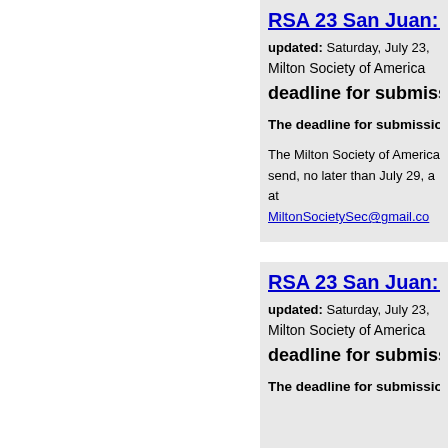RSA 23 San Juan: New...
updated: Saturday, July 23, ...
Milton Society of America
deadline for submiss...
The deadline for submissio...
The Milton Society of America... send, no later than July 29, a... at MiltonSocietySec@gmail.co...
RSA 23 San Juan: Mil...
updated: Saturday, July 23, ...
Milton Society of America
deadline for submiss...
The deadline for submissio...